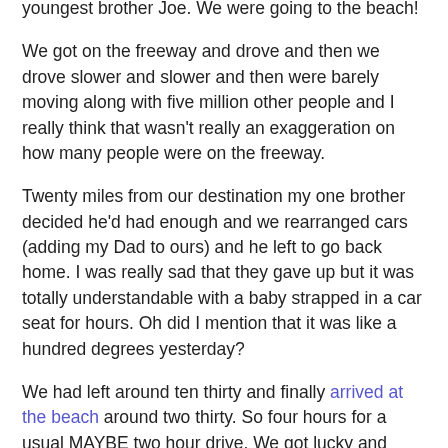youngest brother Joe. We were going to the beach!
We got on the freeway and drove and then we drove slower and slower and then were barely moving along with five million other people and I really think that wasn't really an exaggeration on how many people were on the freeway.
Twenty miles from our destination my one brother decided he'd had enough and we rearranged cars (adding my Dad to ours) and he left to go back home. I was really sad that they gave up but it was totally understandable with a baby strapped in a car seat for hours. Oh did I mention that it was like a hundred degrees yesterday?
We had left around ten thirty and finally arrived at the beach around two thirty. So four hours for a usual MAYBE two hour drive. We got lucky and found parking only a few blocks away (and later we thought how dumb we didn't just unload next to the beach and THEN go park the cars in stead of lugging everything for blocks).
I had never been to this beach before but it was pretty nice.